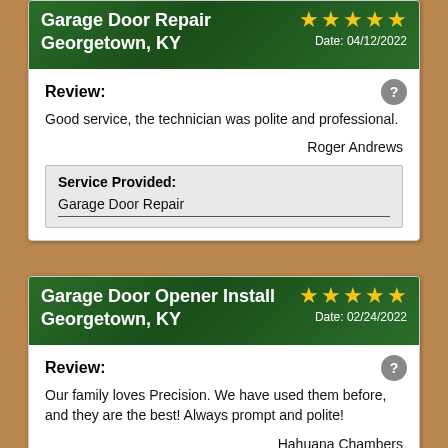[Figure (other): Review card 1: Garage Door Repair, Georgetown KY. 5 stars. Date 04/12/2022. Review by Roger Andrews: Good service, the technician was polite and professional. Service Provided: Garage Door Repair.]
[Figure (other): Review card 2: Garage Door Opener Install, Georgetown KY. 5 stars. Date 02/24/2022. Review by Hahuana Chambers: Our family loves Precision. We have used them before, and they are the best! Always prompt and polite! Service Provided: Garage Door Opener Install.]